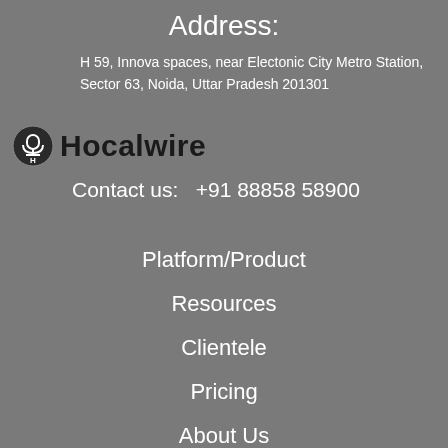Address:
H 59, Innova spaces, near Electonic City Metro Station, Sector 63, Noida, Uttar Pradesh 201301
[Figure (logo): Hocalwire logo with dome/microphone icon and bold text]
Contact us:  +91 88858 58900
Platform/Product
Resources
Clientele
Pricing
About Us
Contact Us